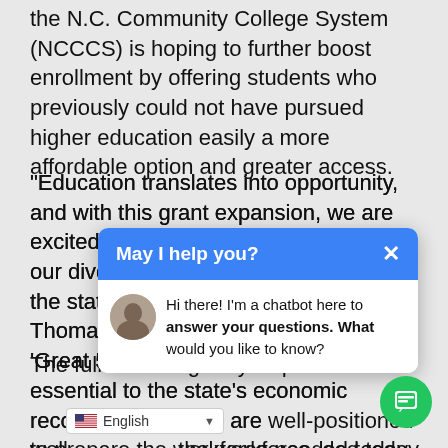the N.C. Community College System (NCCCS) is hoping to further boost enrollment by offering students who previously could not have pursued higher education easily a more affordable option and greater access.
“Education translates into opportunity, and with this grant expansion, we are excited to provide more opportunity to our diverse student populations across the state,” said NCCCS President Thomas A. Stith III. “North Carolina’s ‘Great 58’ community colleges are essential to the state’s economic recovery efforts and are well-positioned to prepare the workforce needed today and tomorrow.”
[Figure (screenshot): Chatbot popup overlay with blue header saying 'May I help you?' and an X close button. Body shows a chatbot avatar and message: 'Hi there! I'm a chatbot here to answer your questions. What would you like to know?']
The full list of eligibility requirements...